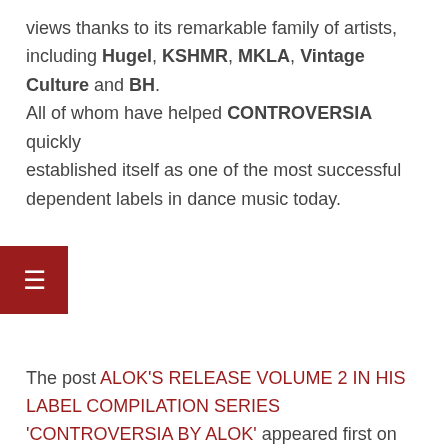views thanks to its remarkable family of artists, including Hugel, KSHMR, MKLA, Vintage Culture and BH. All of whom have helped CONTROVERSIA quickly established itself as one of the most successful dependent labels in dance music today.
The post ALOK'S RELEASE VOLUME 2 IN HIS LABEL COMPILATION SERIES 'CONTROVERSIA BY ALOK' appeared first on Hammarica.
Previous Post: MADDIX RELEASES MASSIVE NEW SAMPLE PACK 'SOUNDS OF THE TRIBE' VOL 1
Next Post: SONARUS TAKES ANTHEMIC EDM TO THE NEXT LEVEL WITH 'REBELLION'